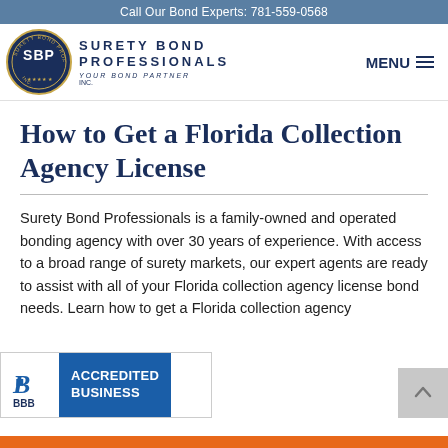Call Our Bond Experts: 781-559-0568
[Figure (logo): Surety Bond Professionals SBP circular logo with tagline YOUR BOND PARTNER]
SURETY BOND PROFESSIONALS INC YOUR BOND PARTNER
MENU
How to Get a Florida Collection Agency License
Surety Bond Professionals is a family-owned and operated bonding agency with over 30 years of experience. With access to a broad range of surety markets, our expert agents are ready to assist with all of your Florida collection agency license bond needs. Learn how to get a Florida collection agency
[Figure (logo): BBB Accredited Business badge with blue background]
ACCREDITED BUSINESS